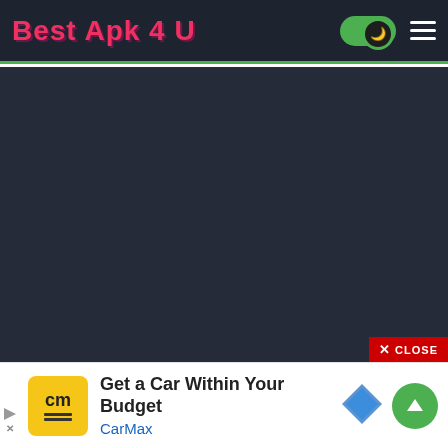Best Apk 4 U
[Figure (screenshot): Dark background main content area of Best Apk 4 U website with dark navy/charcoal background]
✕ CLOSE
[Figure (infographic): CarMax advertisement banner: yellow CM logo square, text 'Get a Car Within Your Budget' and 'CarMax' in blue, blue diamond shape, green up-arrow circle button, small ad indicators bottom left]